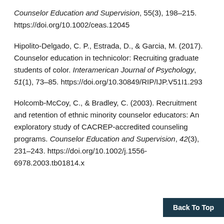Counselor Education and Supervision, 55(3), 198–215. https://doi.org/10.1002/ceas.12045
Hipolito-Delgado, C. P., Estrada, D., & Garcia, M. (2017). Counselor education in technicolor: Recruiting graduate students of color. Interamerican Journal of Psychology, 51(1), 73–85. https://doi.org/10.30849/RIP/IJP.V51I1.293
Holcomb-McCoy, C., & Bradley, C. (2003). Recruitment and retention of ethnic minority counselor educators: An exploratory study of CACREP-accredited counseling programs. Counselor Education and Supervision, 42(3), 231–243. https://doi.org/10.1002/j.1556-6978.2003.tb01814.x